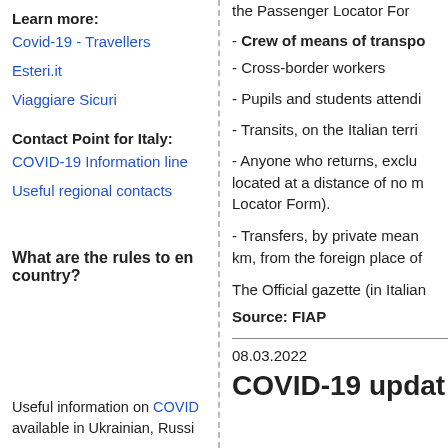Learn more:
Covid-19 - Travellers
Esteri.it
Viaggiare Sicuri
Contact Point for Italy:
COVID-19 Information line
Useful regional contacts
What are the rules to enter the country?
Useful information on COVID available in Ukrainian, Russi...
the Passenger Locator For...
- Crew of means of transport
- Cross-border workers
- Pupils and students attending...
- Transits, on the Italian terri...
- Anyone who returns, exclusively... located at a distance of no m... Locator Form).
- Transfers, by private mean... km, from the foreign place of...
The Official gazette (in Italian...
Source: FIAP
08.03.2022
COVID-19 updat...